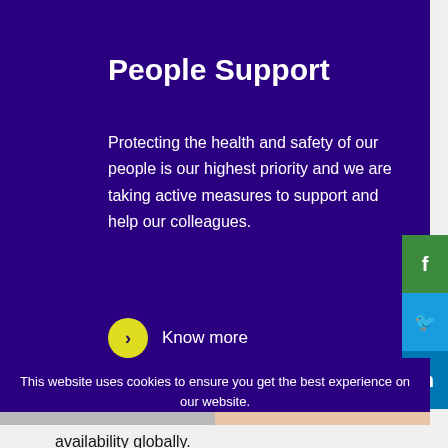People Support
Protecting the health and safety of our people is our highest priority and we are taking active measures to support and help our colleagues.
Know more
This website uses cookies to ensure you get the best experience on our website.
COOKIE SETTINGS
ACCEPT ALL COOKIES
availability globally.